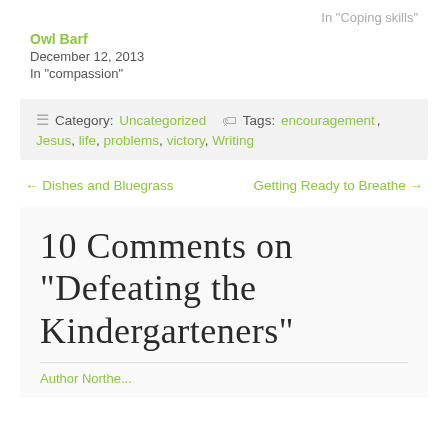In "Coping skills"
Owl Barf
December 12, 2013
In "compassion"
Category: Uncategorized   Tags: encouragement, Jesus, life, problems, victory, Writing
← Dishes and Bluegrass     Getting Ready to Breathe →
10 Comments on "Defeating the Kindergarteners"